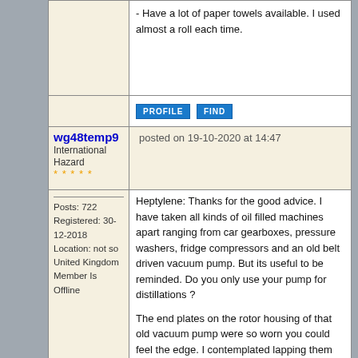- Have a lot of paper towels available. I used almost a roll each time.
PROFILE   FIND
wg48temp9
International Hazard
* * * * *
posted on 19-10-2020 at 14:47
Posts: 722
Registered: 30-12-2018
Location: not so United Kingdom
Member Is Offline
Heptylene: Thanks for the good advice. I have taken all kinds of oil filled machines apart ranging from car gearboxes, pressure washers, fridge compressors and an old belt driven vacuum pump. But its useful to be reminded. Do you only use your pump for distillations ?

The end plates on the rotor housing of that old vacuum pump were so worn you could feel the edge. I contemplated lapping them flat again but never got round to it. Hopefully this pump is in better condition.

I am feeling more confident with it as I have fixed a leak on my lashed up discharge tube (a flask with three necks for two thermometer holders for electrodes and one for the hose connection) I estimated its down to about 0.01mm Hg from the discharge appearance: almost a dark discharge with a whitish fluorescence on the glass. I also checked it was the glass glowing with magnet as its hard the judge if its a diffuse discharge or glass fluorescence. I also added a piece of glass coated with phosphor from a broken fluorescent tube. It only glowed in the about to be discharge...